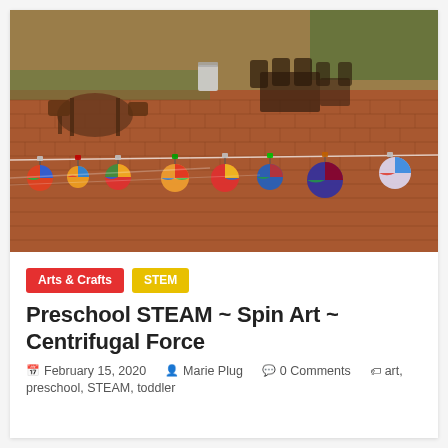[Figure (photo): Outdoor brick patio with tables and chairs in the background. In the foreground, colorful painted spinning discs (spin art) are hung on a line strung across the patio area. The discs display various bright colors including red, orange, blue, green, and yellow.]
Arts & Crafts   STEM
Preschool STEAM ~ Spin Art ~ Centrifugal Force
February 15, 2020   Marie Plug   0 Comments   art, preschool, STEAM, toddler